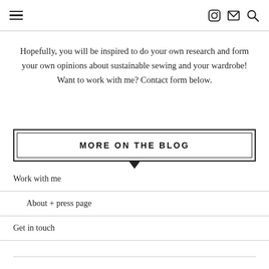Navigation bar with hamburger menu, Instagram icon, email icon, and search icon
Hopefully, you will be inspired to do your own research and form your own opinions about sustainable sewing and your wardrobe! Want to work with me? Contact form below.
MORE ON THE BLOG
Work with me
About + press page
Get in touch